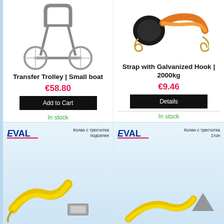[Figure (photo): Transfer trolley for small boat - metal frame with two wheels]
Transfer Trolley | Small boat
€58.80
Add to Cart
In stock
[Figure (photo): Strap with galvanized hook 2000kg - black and orange strap with hooks]
Strap with Galvanized Hook | 2000kg
€9.46
Details
In stock
[Figure (photo): EVAL branded product - yellow strap with hook, partial view]
[Figure (photo): EVAL branded product - strap, partial view]